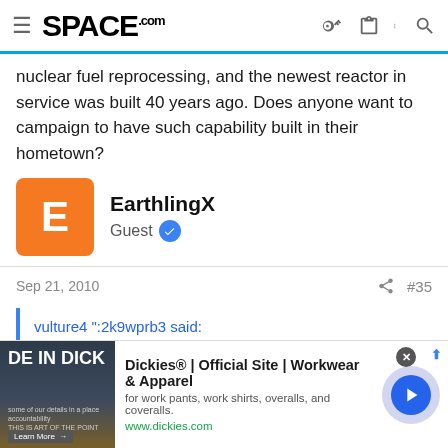SPACE.com
nuclear fuel reprocessing, and the newest reactor in service was built 40 years ago. Does anyone want to campaign to have such capability built in their hometown?
EarthlingX
Guest
Sep 21, 2010  #35
vulture4 ":2k9wprb3 said:
Thorium is certainly a viable energy source but it requires a breeder
[Figure (other): Dickies advertisement banner with image of outdoor scene and arrow button]